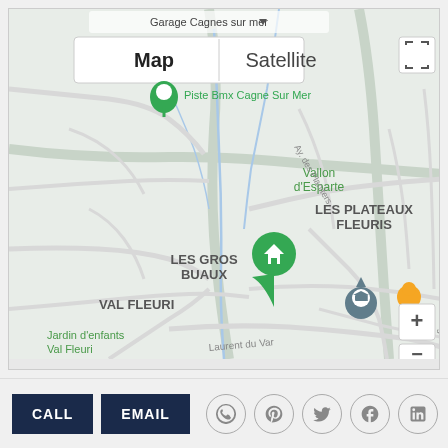[Figure (map): Google Maps view showing LES GROS BUAUX and LES PLATEAUX FLEURIS neighborhoods in Cagnes-sur-Mer/Saint-Laurent-du-Var area, France. A green home location pin is centered on the map. Map/Satellite toggle buttons visible at top left. Nearby landmarks include Piste Bmx Cagne Sur Mer, Vallon d'Esparte, Jardin d'enfants Val Fleuri, VAL FLEURI, Intermarché SL Saint-Laurent du Va. Street map with roads, zoom controls, and pegman visible.]
CALL
EMAIL